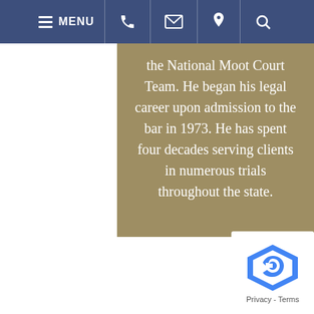MENU [phone] [email] [location] [search]
the National Moot Court Team. He began his legal career upon admission to the bar in 1973. He has spent four decades serving clients in numerous trials throughout the state.
PRACTICE AREAS
Personal Injury
Products Liability
Industrial Accidents
Wrongful Death